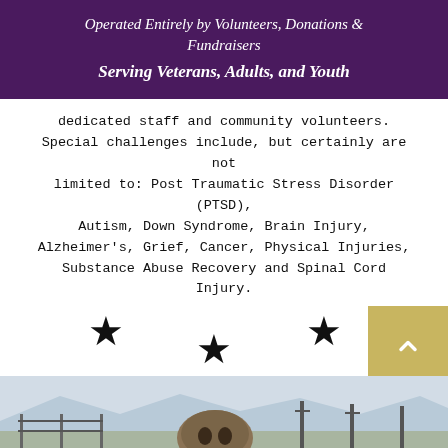Operated Entirely by Volunteers, Donations & Fundraisers
Serving Veterans, Adults, and Youth
dedicated staff and community volunteers. Special challenges include, but certainly are not limited to: Post Traumatic Stress Disorder (PTSD), Autism, Down Syndrome, Brain Injury, Alzheimer's, Grief, Cancer, Physical Injuries, Substance Abuse Recovery and Spinal Cord Injury.
[Figure (illustration): Three black stars arranged in a triangular pattern — one upper left, one lower center, one upper right]
[Figure (photo): Outdoor photograph showing a fence, utility poles, mountains in background, and what appears to be a large decorative ball or helmet sculpture in the foreground]